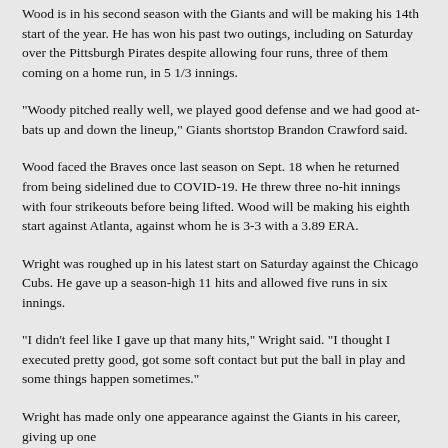Wood is in his second season with the Giants and will be making his 14th start of the year. He has won his past two outings, including on Saturday over the Pittsburgh Pirates despite allowing four runs, three of them coming on a home run, in 5 1/3 innings.
"Woody pitched really well, we played good defense and we had good at-bats up and down the lineup," Giants shortstop Brandon Crawford said.
Wood faced the Braves once last season on Sept. 18 when he returned from being sidelined due to COVID-19. He threw three no-hit innings with four strikeouts before being lifted. Wood will be making his eighth start against Atlanta, against whom he is 3-3 with a 3.89 ERA.
Wright was roughed up in his latest start on Saturday against the Chicago Cubs. He gave up a season-high 11 hits and allowed five runs in six innings.
"I didn't feel like I gave up that many hits," Wright said. "I thought I executed pretty good, got some soft contact but put the ball in play and some things happen sometimes."
Wright has made only one appearance against the Giants in his career, giving up one